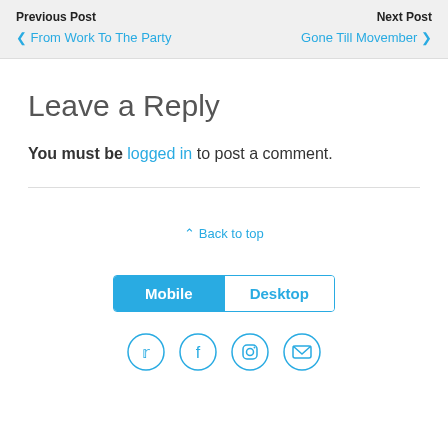Previous Post / < From Work To The Party | Next Post / Gone Till Movember >
Leave a Reply
You must be logged in to post a comment.
^ Back to top
Mobile | Desktop
[Figure (other): Social media icons: Twitter, Facebook, Instagram, Email]